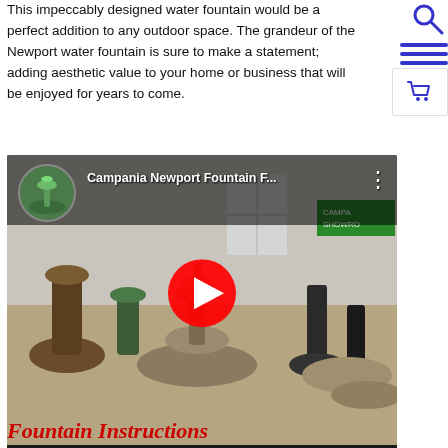This impeccably designed water fountain would be a perfect addition to any outdoor space. The grandeur of the Newport water fountain is sure to make a statement; adding aesthetic value to your home or business that will be enjoyed for years to come.
[Figure (screenshot): YouTube video thumbnail showing 'Campania Newport Fountain F...' with a large red play button overlay. The video shows a showroom with multiple water fountains. There is a circular avatar/thumbnail in the top left of the video.]
Fountain Instructions